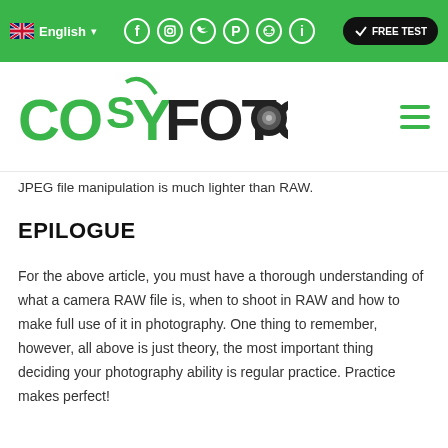English ▾  [social icons]  → FREE TEST
[Figure (logo): CosyFoto logo with green stylized lettering and camera lens icon, plus hamburger menu icon]
JPEG file manipulation is much lighter than RAW.
EPILOGUE
For the above article, you must have a thorough understanding of what a camera RAW file is, when to shoot in RAW and how to make full use of it in photography. One thing to remember, however, all above is just theory, the most important thing deciding your photography ability is regular practice. Practice makes perfect!